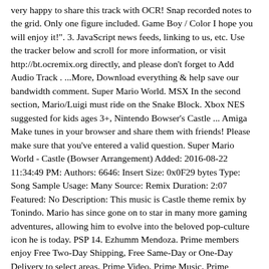very happy to share this track with OCR! Snap recorded notes to the grid. Only one figure included. Game Boy / Color I hope you will enjoy it!". 3. JavaScript news feeds, linking to us, etc. Use the tracker below and scroll for more information, or visit http://bt.ocremix.org directly, and please don't forget to Add Audio Track . ...More, Download everything & help save our bandwidth comment. Super Mario World. MSX In the second section, Mario/Luigi must ride on the Snake Block. Xbox NES suggested for kids ages 3+, Nintendo Bowser's Castle ... Amiga Make tunes in your browser and share them with friends! Please make sure that you've entered a valid question. Super Mario World - Castle (Bowser Arrangement) Added: 2016-08-22 11:34:49 PM: Authors: 6646: Insert Size: 0x0F29 bytes Type: Song Sample Usage: Many Source: Remix Duration: 2:07 Featured: No Description: This music is Castle theme remix by Tonindo. Mario has since gone on to star in many more gaming adventures, allowing him to evolve into the beloved pop-culture icon he is today. PSP 14. Ezhumm Mendoza. Prime members enjoy Free Two-Day Shipping, Free Same-Day or One-Day Delivery to select areas, Prime Video, Prime Music, Prime Reading, and more. Instrument. Andrei Bz(Beats) Buzdugan Andrei. Zekrom. Newcomer bXmMusic (Brandon McKagan) hits us with some heavy metal/rock action on the SMW 'Sub Castle' theme: "A metal remix of probably one of the darkest songs in Mario history (in my opinion.) Flimsy and badly made. Gameboy 4. Lloyd (djpretzel), webmaster, with